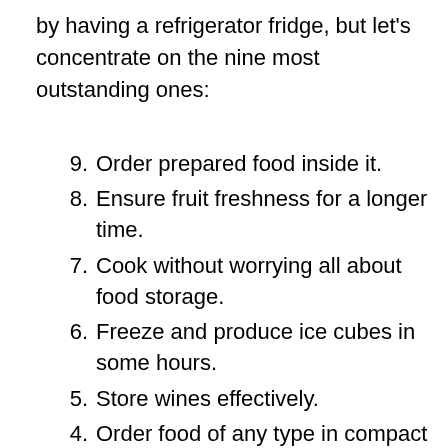by having a refrigerator fridge, but let's concentrate on the nine most outstanding ones:
9. Order prepared food inside it.
8. Ensure fruit freshness for a longer time.
7. Cook without worrying all about food storage.
6. Freeze and produce ice cubes in some hours.
5. Store wines effectively.
4. Order food of any type in compact spaces.
3. Meat stays fresh longer.